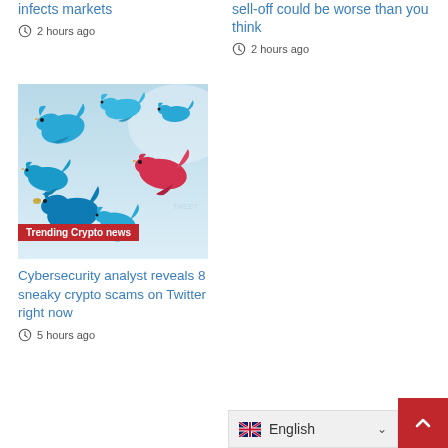infects markets
2 hours ago
sell-off could be worse than you think
2 hours ago
[Figure (illustration): Illustration of blue Twitter birds flying with one red bird among them, labeled 'Trending Crypto news']
Cybersecurity analyst reveals 8 sneaky crypto scams on Twitter right now
5 hours ago